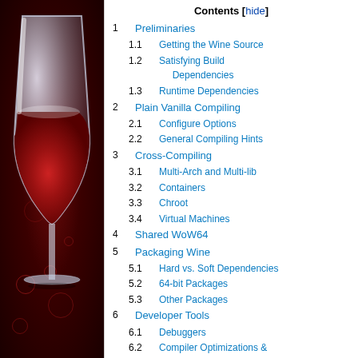[Figure (illustration): Wine logo — a white wine glass with red wine on a dark red background with bubble decorations]
Contents [hide]
1  Preliminaries
1.1  Getting the Wine Source
1.2  Satisfying Build Dependencies
1.3  Runtime Dependencies
2  Plain Vanilla Compiling
2.1  Configure Options
2.2  General Compiling Hints
3  Cross-Compiling
3.1  Multi-Arch and Multi-lib
3.2  Containers
3.3  Chroot
3.4  Virtual Machines
4  Shared WoW64
5  Packaging Wine
5.1  Hard vs. Soft Dependencies
5.2  64-bit Packages
5.3  Other Packages
6  Developer Tools
6.1  Debuggers
6.2  Compiler Optimizations & Call Stacks